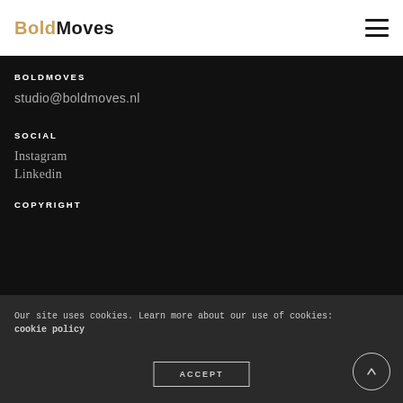BoldMoves
BOLDMOVES
studio@boldmoves.nl
SOCIAL
Instagram
Linkedin
COPYRIGHT
Our site uses cookies. Learn more about our use of cookies: cookie policy
ACCEPT